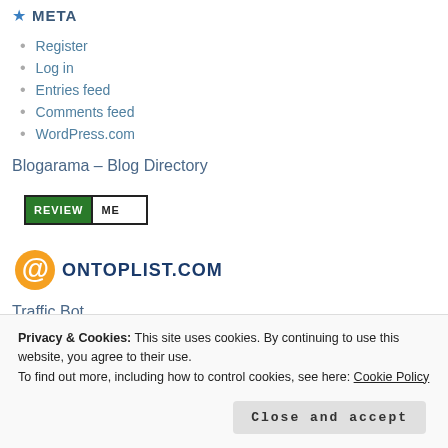META
Register
Log in
Entries feed
Comments feed
WordPress.com
Blogarama - Blog Directory
[Figure (other): Review Me badge with green REVIEW label and white ME label]
[Figure (logo): OnTopList.com logo with orange @ symbol and dark blue text ONTOPLIST.COM]
Traffic Bot
Privacy & Cookies: This site uses cookies. By continuing to use this website, you agree to their use. To find out more, including how to control cookies, see here: Cookie Policy
Close and accept